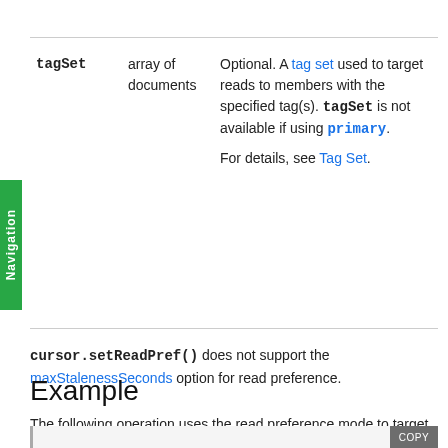| Field | Type | Description |
| --- | --- | --- |
| tagSet | array of documents | Optional. A tag set used to target reads to members with the specified tag(s). tagSet is not available if using primary.

For details, see Tag Set. |
cursor.setReadPref() does not support the maxStalenessSeconds option for read preference.
Example
The following operation uses the read preference mode to target the read to a secondary member.